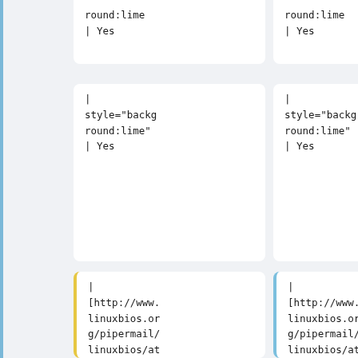round:lime
| Yes
round:lime
| Yes
|
style="background:lime"
| Yes
|
style="background:lime"
| Yes
|
[http://www.linuxbios.org/pipermail/linuxbios/attachments/20071009/5c245359/attachment.txt 1],
[http://www.linuxbios.org/pipermail/linuxbios/20 07-October/0255
|
[http://www.linuxbios.org/pipermail/linuxbios/attachments/20071009/5c245359/attachment.txt 1],
[http://www.linuxbios.org/pipermail/linuxbios/20 07-October/0255